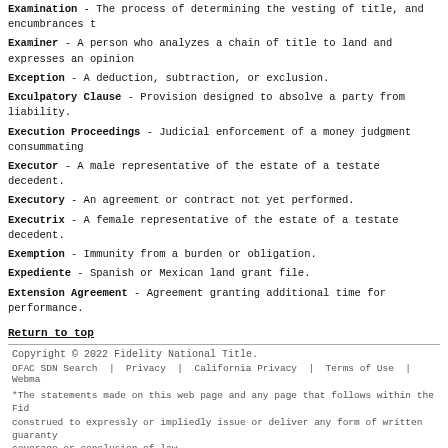Examination - The process of determining the vesting of title, and encumbrances...
Examiner - A person who analyzes a chain of title to land and expresses an opinion...
Exception - A deduction, subtraction, or exclusion.
Exculpatory Clause - Provision designed to absolve a party from liability.
Execution Proceedings - Judicial enforcement of a money judgment consummating...
Executor - A male representative of the estate of a testate decedent.
Executory - An agreement or contract not yet performed.
Executrix - A female representative of the estate of a testate decedent.
Exemption - Immunity from a burden or obligation.
Expediente - Spanish or Mexican land grant file.
Extension Agreement - Agreement granting additional time for performance.
Return to top
Copyright © 2022 Fidelity National Title.
OFAC SDN Search | Privacy | California Privacy | Terms of Use | Webma...
*The statements made on this web page and any page that follows within the Fid... construed to expressly or impliedly issue or deliver any form of written guaranty... coverage or conclusion of law.